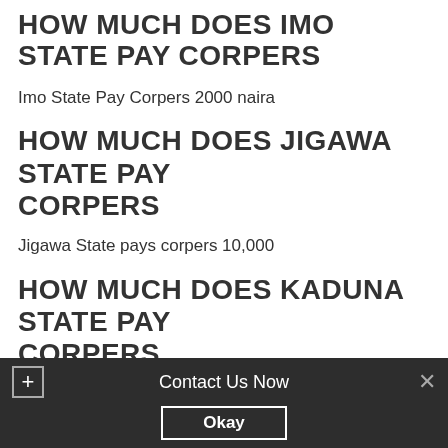HOW MUCH DOES IMO STATE PAY CORPERS
Imo State Pay Corpers 2000 naira
HOW MUCH DOES JIGAWA STATE PAY CORPERS
Jigawa State pays corpers 10,000
HOW MUCH DOES KADUNA STATE PAY CORPERS
Kaduna State pays corpers 3000 naira
HOW MUCH DOES KANO STATE PAY CORPERS
Contact Us Now
Okay